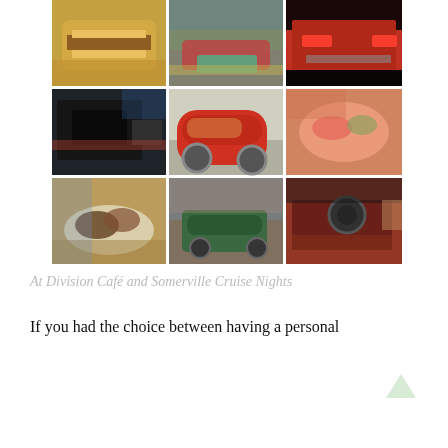[Figure (photo): 3x3 photo collage showing food dishes and classic cars at Somerville Cruise Nights and Division Café. Top row: breakfast sandwiches on biscuits, vintage cars in parking lot, red classic car rear. Middle row: black classic car side view, red VW Beetle, pink/green food dish. Bottom row: food plate with meat, green classic car on street in downtown, vintage car interior dashboard.]
At Division Café and Somerville Cruise Nights
If you had the choice between having a personal